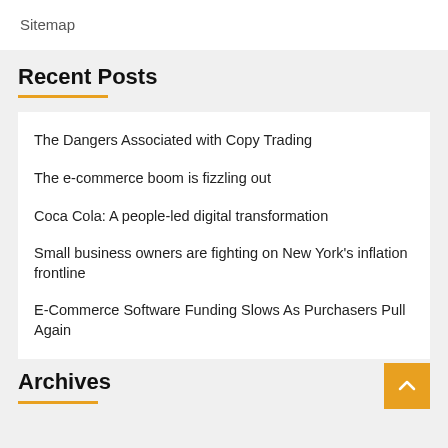Sitemap
Recent Posts
The Dangers Associated with Copy Trading
The e-commerce boom is fizzling out
Coca Cola: A people-led digital transformation
Small business owners are fighting on New York's inflation frontline
E-Commerce Software Funding Slows As Purchasers Pull Again
Archives